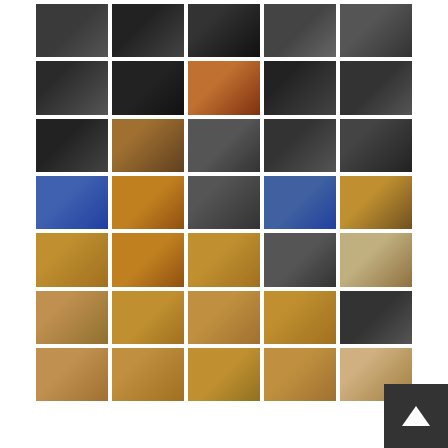[Figure (photo): Photo gallery grid of mariachi performance and concert event photos. Multiple rows of 5 photos each showing musicians playing instruments, singers performing with sombreros, and audience members at what appears to be a mariachi concert event.]
[Figure (other): Scroll-to-top button with upward arrow in dark gray square, positioned at bottom right corner.]